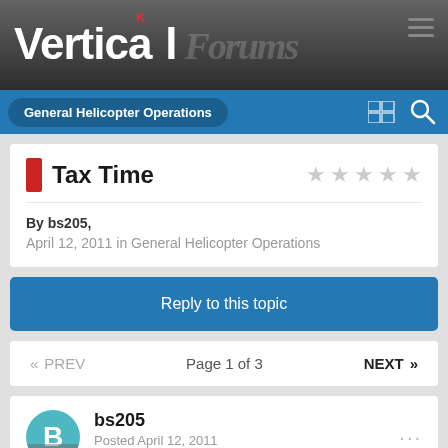Vertical Forums
General Helicopter Operations
Tax Time
By bs205,
April 12, 2011 in General Helicopter Operations
Reply to this topic
«  PREV    Page 1 of 3    NEXT  »
bs205
Posted April 12, 2011